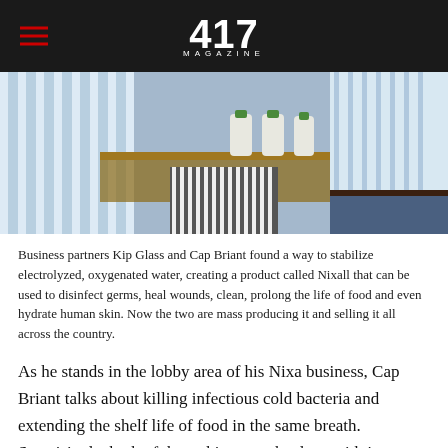417 MAGAZINE
[Figure (photo): Two men in striped dress shirts standing at a counter with green-capped Nixall product bottles visible on a granite countertop]
Business partners Kip Glass and Cap Briant found a way to stabilize electrolyzed, oxygenated water, creating a product called Nixall that can be used to disinfect germs, heal wounds, clean, prolong the life of food and even hydrate human skin. Now the two are mass producing it and selling it all across the country.
As he stands in the lobby area of his Nixa business, Cap Briant talks about killing infectious cold bacteria and extending the shelf life of food in the same breath. Surprisingly, both of these things can be done with just